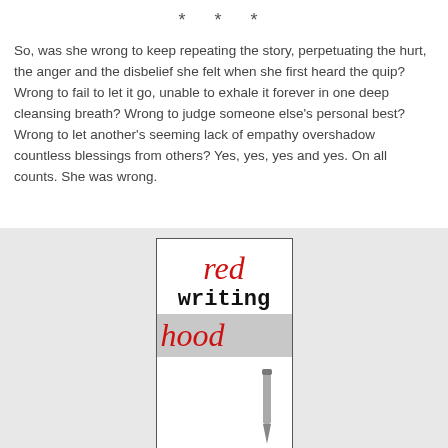* * *
So, was she wrong to keep repeating the story, perpetuating the hurt, the anger and the disbelief she felt when she first heard the quip?  Wrong to fail to let it go, unable to exhale it forever in one deep cleansing breath?  Wrong to judge someone else's personal best?  Wrong to let another's seeming lack of empathy overshadow countless blessings from others?  Yes, yes, yes and yes.  On all counts.  She was wrong.
[Figure (photo): Book cover image showing 'red writing hood' text in red italic and black monospace fonts, with a pen/pencil visible at the bottom, on a light gray background]